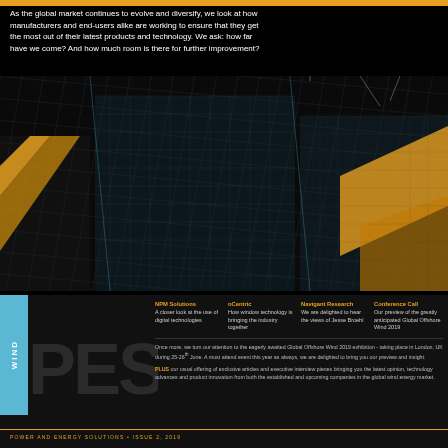As the global market continues to evolve and diversify, we look at how manufacturers and end-users alike are working to ensure that they get the most out of their latest products and technology. We ask: how far have we come? And how much room is there for further improvement?
[Figure (photo): Abstract dark grid/solar panel pattern with orange diagonal stripes, technical overhead perspective]
NPM Solutions
A closer look at the use of digital technologies
nCentric
How window technology is bringing the industry together
Navigant Research
We are delighted to hear the views of Jesse Broehl
Conference Call
Our preview of the greatly anticipated Global Offshore Wind 2019
Once more, we turn our attention to the eagerly awaited Global Offshore Wind 2019 exhibition - taking place in London, UK during 25-26th June. A must attend event this year as always, we are delighted to bring you our preview and insight.
PLUS our usual offering of exclusive articles and executive interview pieces bringing you the latest opinion, technology advances and product innovation from both the established and upcoming companies in the global wind energy market.
POWER AND ENERGY SOLUTIONS • ISSUE 2, 2019